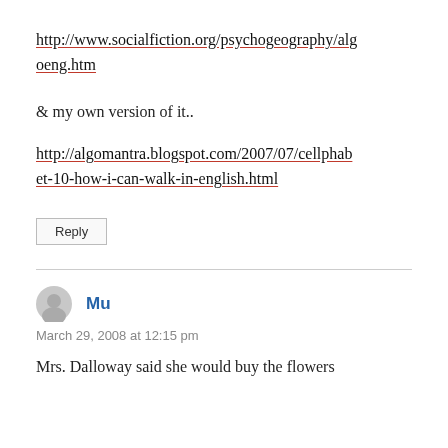http://www.socialfiction.org/psychogeography/algoeng.htm
& my own version of it..
http://algomantra.blogspot.com/2007/07/cellphabet-10-how-i-can-walk-in-english.html
Reply
Mu
March 29, 2008 at 12:15 pm
Mrs. Dalloway said she would buy the flowers